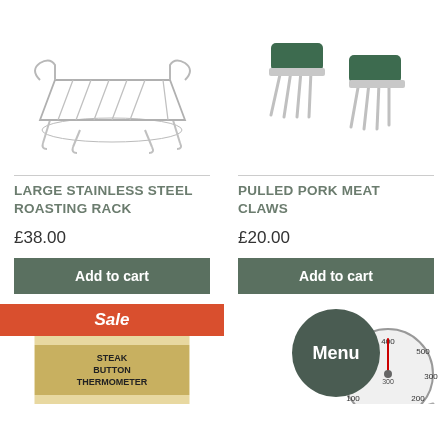[Figure (photo): Large stainless steel roasting rack product photo]
[Figure (photo): Pulled pork meat claws product photo]
LARGE STAINLESS STEEL ROASTING RACK
PULLED PORK MEAT CLAWS
£38.00
£20.00
Add to cart
Add to cart
[Figure (photo): Steak Button Thermometer product with Sale badge]
[Figure (photo): Large dial meat thermometer]
Sale
Menu